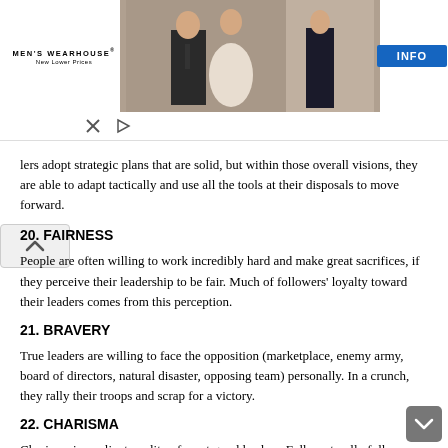[Figure (photo): Men's Wearhouse advertisement banner showing a couple in formal wear and a man in a suit, with an INFO button on the right]
lers adopt strategic plans that are solid, but within those overall visions, they are able to adapt tactically and use all the tools at their disposals to move forward.
20. FAIRNESS
People are often willing to work incredibly hard and make great sacrifices, if they perceive their leadership to be fair. Much of followers' loyalty toward their leaders comes from this perception.
21. BRAVERY
True leaders are willing to face the opposition (marketplace, enemy army, board of directors, natural disaster, opposing team) personally. In a crunch, they rally their troops and scrap for a victory.
22. CHARISMA
Charisma is a salient quality of most good leaders. Folks naturally follow those who possess this hard-to-put-your-finger-on